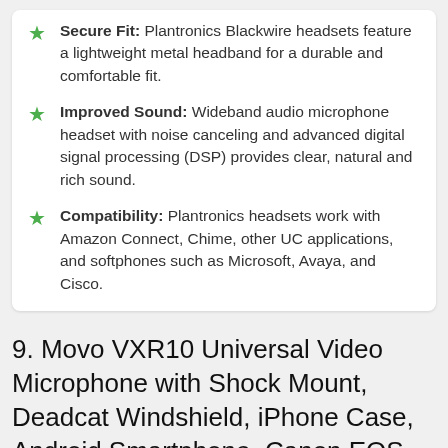Secure Fit: Plantronics Blackwire headsets feature a lightweight metal headband for a durable and comfortable fit.
Improved Sound: Wideband audio microphone headset with noise canceling and advanced digital signal processing (DSP) provides clear, natural and rich sound.
Compatibility: Plantronics headsets work with Amazon Connect, Chime, other UC applications, and softphones such as Microsoft, Avaya, and Cisco.
9. Movo VXR10 Universal Video Microphone with Shock Mount, Deadcat Windshield, iPhone Case, Android Smartphone, Canon EOS, Nikon DSLR, Camcorder – Perfect Camera Microphone, Shotgun Microphone